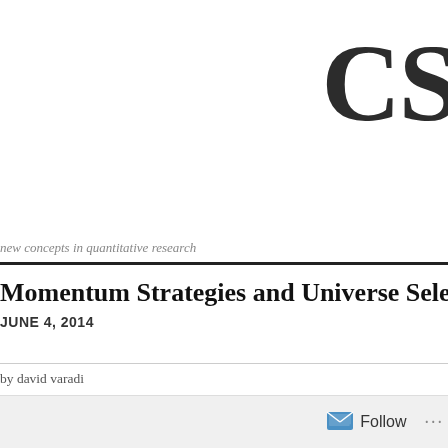CS
new concepts in quantitative research
Momentum Strategies and Universe Sele
JUNE 4, 2014
by david varadi
[Figure (other): Footer bar with Follow button and ellipsis menu]